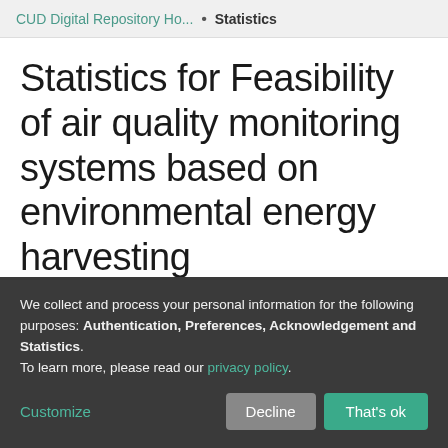CUD Digital Repository Ho... • Statistics
Statistics for Feasibility of air quality monitoring systems based on environmental energy harvesting
Total visits
We collect and process your personal information for the following purposes: Authentication, Preferences, Acknowledgement and Statistics. To learn more, please read our privacy policy.